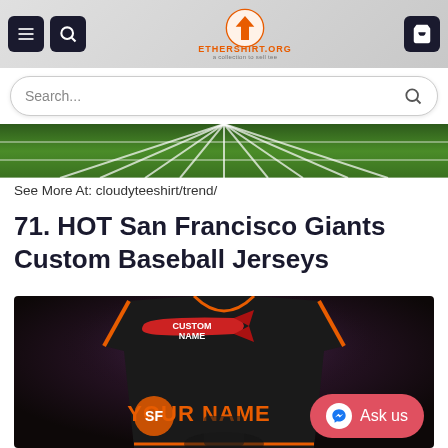ETHERSHIRT.ORG
Search...
[Figure (photo): Green football field with white yard lines, perspective view from end zone]
See More At: cloudyteeshirt/trend/
71. HOT San Francisco Giants Custom Baseball Jerseys
[Figure (photo): San Francisco Giants custom baseball jersey product shot showing back of dark jersey with orange trim, 'CUSTOM NAME' tag, 'YOUR NAME' text on back, and SF Giants logo. Dark stadium background. Pink Messenger 'Ask us' chat button overlaid bottom right.]